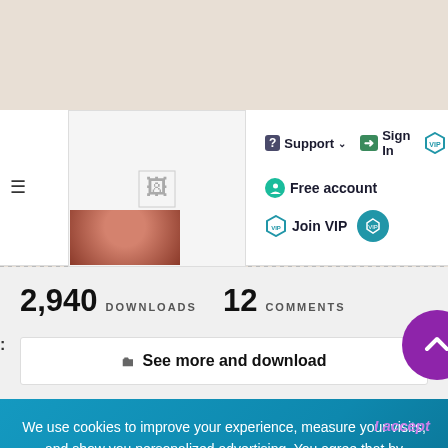Support | Sign In | Gif | Free account | Join VIP
2,940 DOWNLOADS   12 COMMENTS
See more and download
We use cookies to improve your experience, measure your visits, and show you personalized advertising. You agree that by closing this notice, interacting with any link or button outside this notice, or by continuing to browse or download, you accept our Privacy Policy and Terms of Use.
I accept